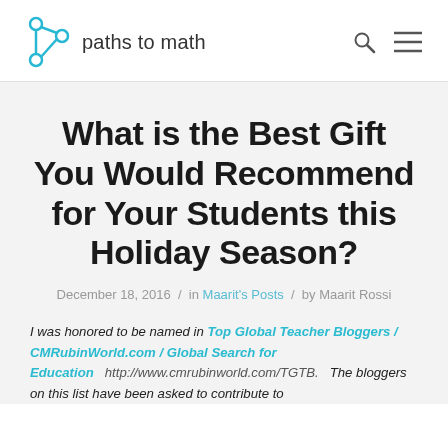paths to math
What is the Best Gift You Would Recommend for Your Students this Holiday Season?
December 18, 2016 / in Maarit's Posts / by Maarit Rossi
I was honored to be named in Top Global Teacher Bloggers / CMRubinWorld.com / Global Search for Education http://www.cmrubinworld.com/TGTB. The bloggers on this list have been asked to contribute to